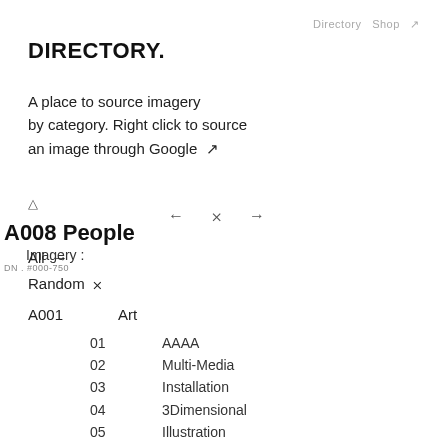Directory   Shop  ↗
DIRECTORY.
A place to source imagery by category. Right click to source an image through Google ↗
A008 People
Imagery :   ←   ⇄   →
DN . #000-750
All →
Random ⇄
A001    Art
01    AAAA
02    Multi-Media
03    Installation
04    3Dimensional
05    Illustration
A002    Lifestyle
01    Lives Left to Live
02    $$$$